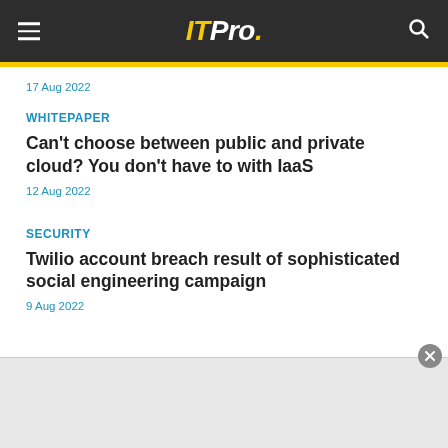ITPro.
17 Aug 2022
WHITEPAPER
Can't choose between public and private cloud? You don't have to with IaaS
12 Aug 2022
SECURITY
Twilio account breach result of sophisticated social engineering campaign
9 Aug 2022